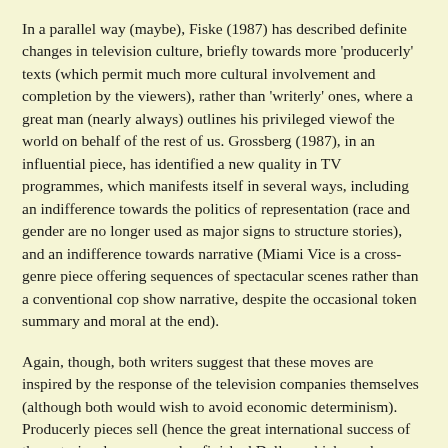In a parallel way (maybe), Fiske (1987) has described definite changes in television culture, briefly towards more 'producerly' texts (which permit much more cultural involvement and completion by the viewers), rather than 'writerly' ones, where a great man (nearly always) outlines his privileged viewof the world on behalf of the rest of us. Grossberg (1987), in an influential piece, has identified a new quality in TV programmes, which manifests itself in several ways, including an indifference towards the politics of representation (race and gender are no longer used as major signs to structure stories), and an indifference towards narrative (Miami Vice is a cross-genre piece offering sequences of spectacular scenes rather than a conventional cop show narrative, despite the occasional token summary and moral at the end).
Again, though, both writers suggest that these moves are inspired by the response of the television companies themselves (although both would wish to avoid economic determinism). Producerly pieces sell (hence the great international success of the notoriously vague and unfinished Dallas, which can be inscribed with meaning by just about any culture). TV makes 'indifferent' programmes because the audience has lost interest in strong narratives and social comment pieces, and has to have its attention grabbed by short sequences of spectacles and multiple appeals (action, clothes, 'stars', sex etc).